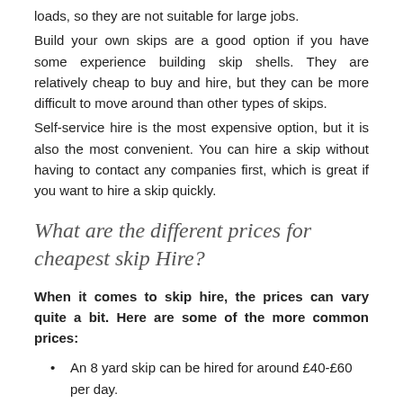loads, so they are not suitable for large jobs.
Build your own skips are a good option if you have some experience building skip shells. They are relatively cheap to buy and hire, but they can be more difficult to move around than other types of skips.
Self-service hire is the most expensive option, but it is also the most convenient. You can hire a skip without having to contact any companies first, which is great if you want to hire a skip quickly.
What are the different prices for cheapest skip Hire?
When it comes to skip hire, the prices can vary quite a bit. Here are some of the more common prices:
An 8 yard skip can be hired for around £40-£60 per day.